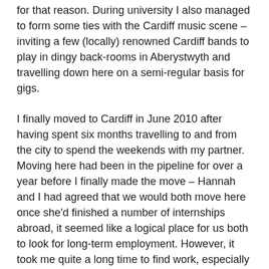for that reason. During university I also managed to form some ties with the Cardiff music scene – inviting a few (locally) renowned Cardiff bands to play in dingy back-rooms in Aberystwyth and travelling down here on a semi-regular basis for gigs.
I finally moved to Cardiff in June 2010 after having spent six months travelling to and from the city to spend the weekends with my partner. Moving here had been in the pipeline for over a year before I finally made the move – Hannah and I had agreed that we would both move here once she'd finished a number of internships abroad, it seemed like a logical place for us both to look for long-term employment. However, it took me quite a long time to find work, especially as I had a good, secure job in Aberystwyth that I didn't want to abandon for something less appealing. In the end I'm glad I held out to find a job I wanted, as I now have the privilege of doing a job I enjoy at Positif Politics. I work with a great group of people and it's an exciting time to be involved in public affairs/politics – what